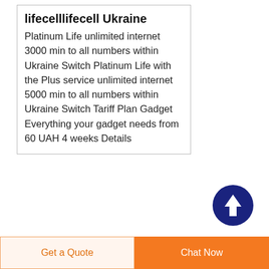lifecelllifecell Ukraine
Platinum Life unlimited internet 3000 min to all numbers within Ukraine Switch Platinum Life with the Plus service unlimited internet 5000 min to all numbers within Ukraine Switch Tariff Plan Gadget Everything your gadget needs from 60 UAH 4 weeks Details
[Figure (illustration): Dark blue circle with white upward arrow icon]
[Figure (illustration): Blue square icon with white key/VPN symbol]
Buy a VPN to Protect Your Security VyprVPN
Get a Quote
Chat Now